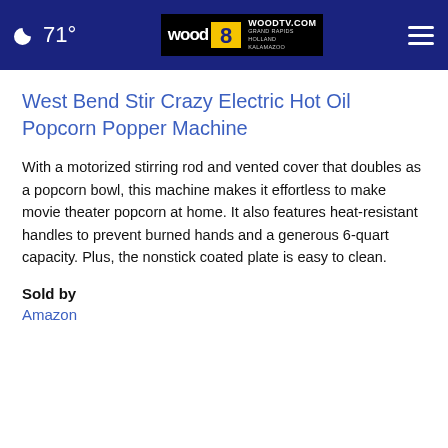71° | WOODTV.COM GRAND RAPIDS HOLLAND KALAMAZOO
West Bend Stir Crazy Electric Hot Oil Popcorn Popper Machine
With a motorized stirring rod and vented cover that doubles as a popcorn bowl, this machine makes it effortless to make movie theater popcorn at home. It also features heat-resistant handles to prevent burned hands and a generous 6-quart capacity. Plus, the nonstick coated plate is easy to clean.
Sold by
Amazon